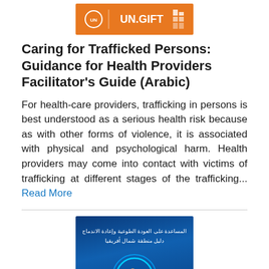[Figure (illustration): Orange book cover with UN logo and UN.GIFT text in white on orange background]
Caring for Trafficked Persons: Guidance for Health Providers Facilitator's Guide (Arabic)
For health-care providers, trafficking in persons is best understood as a serious health risk because as with other forms of violence, it is associated with physical and psychological harm. Health providers may come into contact with victims of trafficking at different stages of the trafficking... Read More
[Figure (illustration): Blue book cover with Arabic text and globe/circle imagery with figures of people]